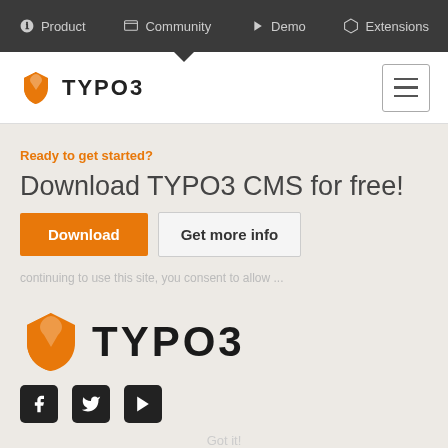Product | Community | Demo | Extensions
[Figure (logo): TYPO3 logo small in white header bar with hamburger menu icon]
Ready to get started?
Download TYPO3 CMS for free!
Download | Get more info
[Figure (logo): Large TYPO3 logo with orange shield icon]
[Figure (infographic): Social media icons: Facebook, Twitter, YouTube]
INFORMATION
Decision makers